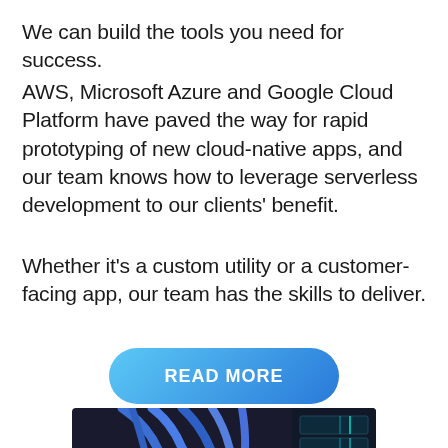We can build the tools you need for success.
AWS, Microsoft Azure and Google Cloud Platform have paved the way for rapid prototyping of new cloud-native apps, and our team knows how to leverage serverless development to our clients’ benefit.
Whether it’s a custom utility or a customer-facing app, our team has the skills to deliver.
[Figure (other): A button labeled READ MORE with a blue gradient pill/rounded-rectangle shape]
[Figure (photo): Photo of network patch panel with blue ethernet cables plugged in, server equipment in background]